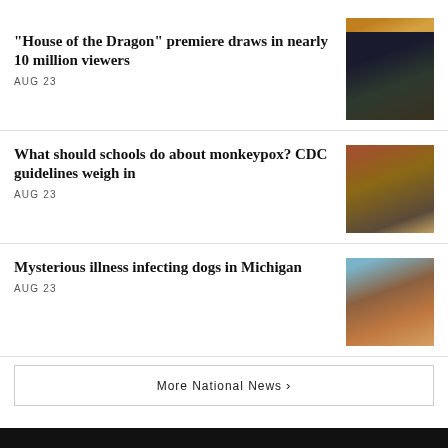[Figure (photo): Partial image of food item at top right, cropped]
"House of the Dragon" premiere draws in nearly 10 million viewers
AUG 23
[Figure (photo): Dark fantasy scene with castle and dragon silhouette]
What should schools do about monkeypox? CDC guidelines weigh in
AUG 23
[Figure (photo): Children with backpacks walking, viewed from behind]
Mysterious illness infecting dogs in Michigan
AUG 23
[Figure (photo): Close-up of a brown dog lying down]
More National News ›